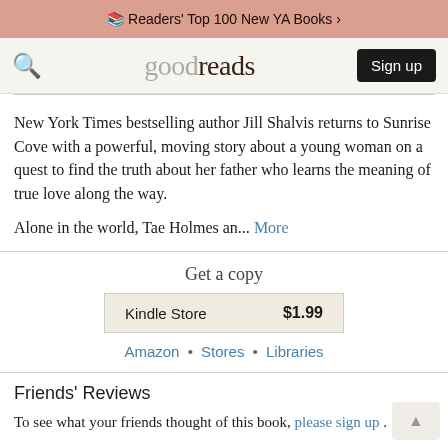Readers' Top 100 New YA Books >
[Figure (screenshot): Goodreads navigation bar with search icon, goodreads logo, and Sign up button]
New York Times bestselling author Jill Shalvis returns to Sunrise Cove with a powerful, moving story about a young woman on a quest to find the truth about her father who learns the meaning of true love along the way.
Alone in the world, Tae Holmes an... More
Get a copy
| Store | Price |
| --- | --- |
| Kindle Store | $1.99 |
Amazon • Stores • Libraries
Friends' Reviews
To see what your friends thought of this book, please sign up .